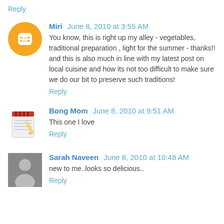Reply
Miri  June 8, 2010 at 3:55 AM
You know, this is right up my alley - vegetables, traditional preparation , light for the summer - thanks!! and this is also much in line with my latest post on local cuisine and how its not too difficult to make sure we do our bit to preserve such traditions!
Reply
Bong Mom  June 8, 2010 at 9:51 AM
This one I love
Reply
Sarah Naveen  June 8, 2010 at 10:48 AM
new to me..looks so delicious..
Reply